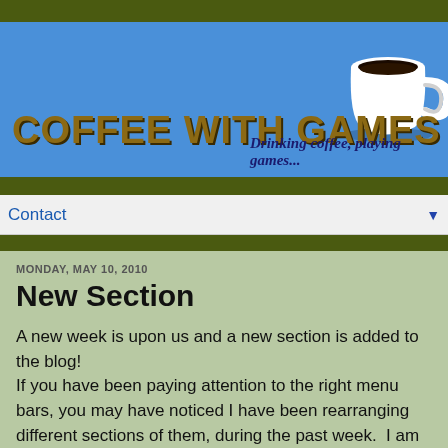[Figure (logo): Coffee With Games blog header banner with blue background, large brown bold 'COFFEE WITH GAMES' title text, italic subtitle 'Drinking coffee, playing games...', and a white coffee mug image in top right corner]
Contact
MONDAY, MAY 10, 2010
New Section
A new week is upon us and a new section is added to the blog!
If you have been paying attention to the right menu bars, you may have noticed I have been rearranging different sections of them, during the past week.  I am always trying to keep my blog's format easy to read, and not overwhelming.
The new section added is "Coffee's Connections"; it is